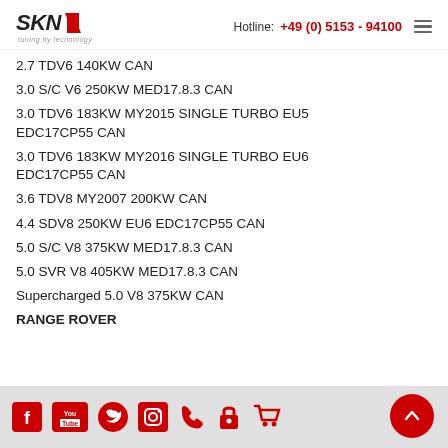SKN tuning by technology | Hotline: +49 (0) 5153 - 94100
2.7 TDV6 140KW CAN
3.0 S/C V6 250KW MED17.8.3 CAN
3.0 TDV6 183KW MY2015 SINGLE TURBO EU5 EDC17CP55 CAN
3.0 TDV6 183KW MY2016 SINGLE TURBO EU6 EDC17CP55 CAN
3.6 TDV8 MY2007 200KW CAN
4.4 SDV8 250KW EU6 EDC17CP55 CAN
5.0 S/C V8 375KW MED17.8.3 CAN
5.0 SVR V8 405KW MED17.8.3 CAN
Supercharged 5.0 V8 375KW CAN
RANGE ROVER
Social media icons: Facebook, YouTube, Twitter, Instagram, Phone, Lock, Cart